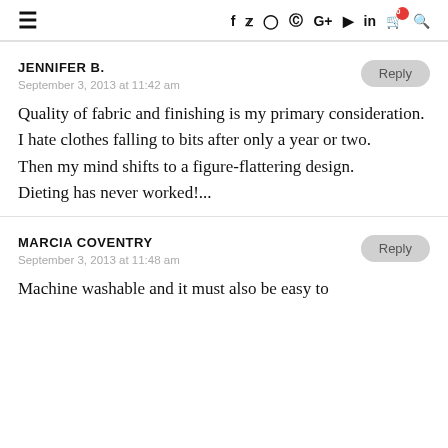≡  f  🐦  ⊙  ⊕  G+  ▶  in  🛒0  🔍
JENNIFER B.
September 3, 2013 at 11:42 am
Quality of fabric and finishing is my primary consideration. I hate clothes falling to bits after only a year or two.
Then my mind shifts to a figure-flattering design.
Dieting has never worked!...
MARCIA COVENTRY
September 3, 2013 at 11:48 am
Machine washable and it must also be easy to